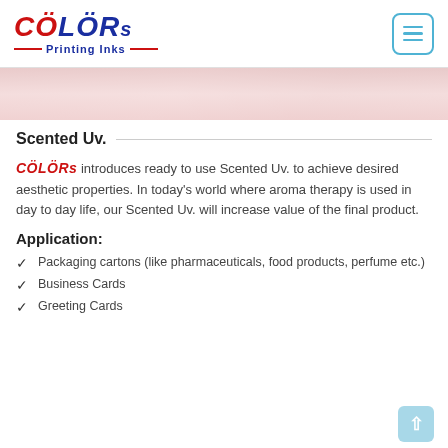CÖLÖRs Printing Inks
[Figure (photo): Partial hero image strip showing soft pink/beige tones, likely hands or packaging]
Scented Uv.
CÖLÖRs introduces ready to use Scented Uv. to achieve desired aesthetic properties. In today's world where aroma therapy is used in day to day life, our Scented Uv. will increase value of the final product.
Application:
Packaging cartons (like pharmaceuticals, food products, perfume etc.)
Business Cards
Greeting Cards